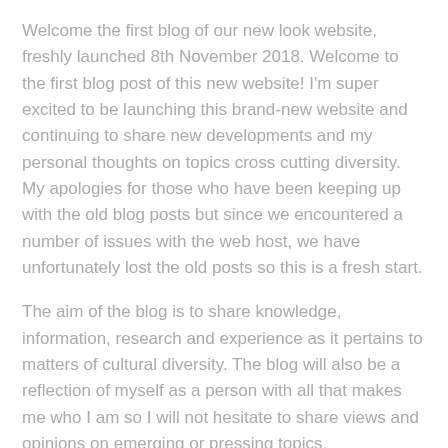Welcome the first blog of our new look website, freshly launched 8th November 2018. Welcome to the first blog post of this new website! I'm super excited to be launching this brand-new website and continuing to share new developments and my personal thoughts on topics cross cutting diversity. My apologies for those who have been keeping up with the old blog posts but since we encountered a number of issues with the web host, we have unfortunately lost the old posts so this is a fresh start.
The aim of the blog is to share knowledge, information, research and experience as it pertains to matters of cultural diversity. The blog will also be a reflection of myself as a person with all that makes me who I am so I will not hesitate to share views and opinions on emerging or pressing topics.
So, who am I? I live in Western Australia and have done so for the past 10 years since relocating to Perth from Sydney.